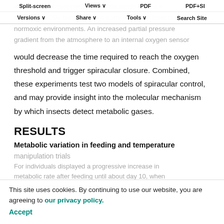Split-screen  Views  PDF  PDF+SI  Versions  Share  Tools  Search Site
exposed to atmospheric hyperoxia would produce decreased CO2 burst volumes compared with insects in normoxic environments. An increased partial pressure gradient from the atmosphere to an internal oxygen sensor would decrease the time required to reach the oxygen threshold and trigger spiracular closure. Combined, these experiments test two models of spiracular control, and may provide insight into the molecular mechanism by which insects detect metabolic gases.
RESULTS
Metabolic variation in feeding and temperature manipulation trials
For individuals displayed a progressive increase in metabolic rate after feeding until about day 10, when metabolic rate began to decrease (Fig. 1A). The mean
This site uses cookies. By continuing to use our website, you are agreeing to our privacy policy. Accept